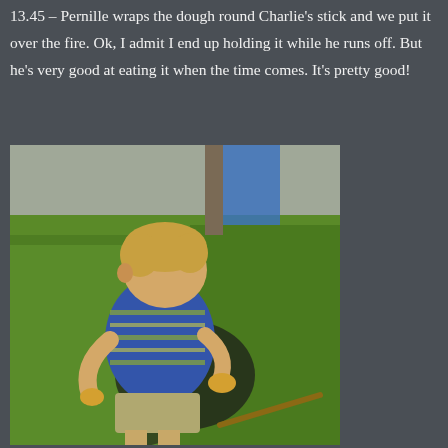13.45 – Pernille wraps the dough round Charlie's stick and we put it over the fire. Ok, I admit I end up holding it while he runs off. But he's very good at eating it when the time comes. It's pretty good!
[Figure (photo): A young blonde boy standing on grass in bright sunshine, wearing a blue striped polo shirt and khaki shorts, holding what appears to be bread or dough in his hands, with a shadow cast behind him.]